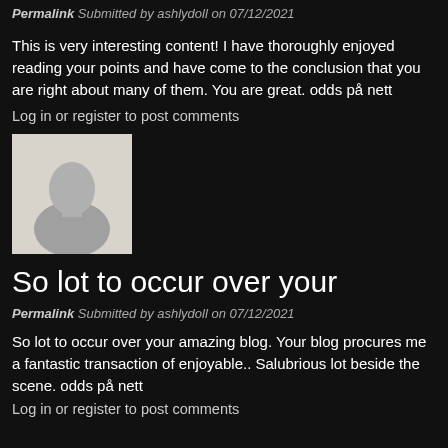Permalink Submitted by ashlydoll on 07/12/2021
This is very interesting content! I have thoroughly enjoyed reading your points and have come to the conclusion that you are right about many of them. You are great. odds på nett
Log in or register to post comments
[Figure (photo): Generic user avatar silhouette on light gray background]
So lot to occur over your
Permalink Submitted by ashlydoll on 07/12/2021
So lot to occur over your amazing blog. Your blog procures me a fantastic transaction of enjoyable.. Salubrious lot beside the scene. odds på nett
Log in or register to post comments